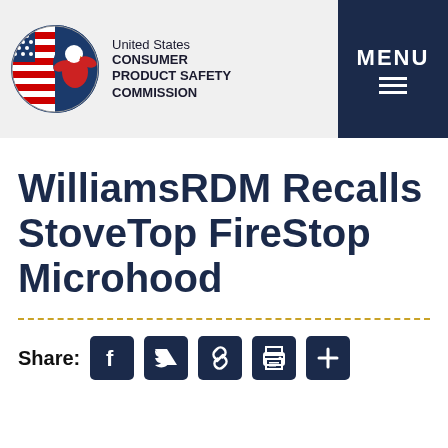United States CONSUMER PRODUCT SAFETY COMMISSION
WilliamsRDM Recalls StoveTop FireStop Microhood
Share: